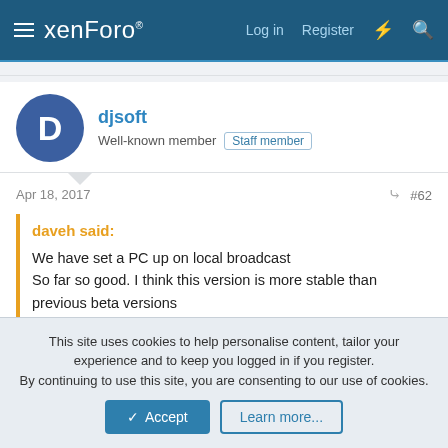xenForo  Log in  Register
djsoft
Well-known member  Staff member
Apr 18, 2017  #62
daveh said:
We have set a PC up on local broadcast
So far so good. I think this version is more stable than previous beta versions
We have noted most things that have been listed as issues
All good keep up the good work Dmitry
Thank you! Please let me know if you encounter any bugs, or
This site uses cookies to help personalise content, tailor your experience and to keep you logged in if you register.
By continuing to use this site, you are consenting to our use of cookies.
✓ Accept    Learn more...